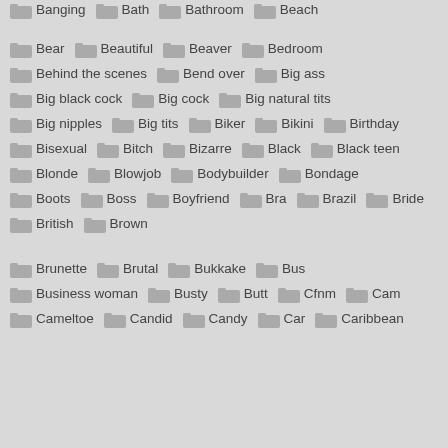Banging, Bath, Bathroom, Beach
Bear, Beautiful, Beaver, Bedroom
Behind the scenes, Bend over, Big ass
Big black cock, Big cock, Big natural tits
Big nipples, Big tits, Biker, Bikini, Birthday
Bisexual, Bitch, Bizarre, Black, Black teen
Blonde, Blowjob, Bodybuilder, Bondage
Boots, Boss, Boyfriend, Bra, Brazil, Bride
British, Brown
Brunette, Brutal, Bukkake, Bus
Business woman, Busty, Butt, Cfnm, Cam
Cameltoe, Candid, Candy, Car, Caribbean